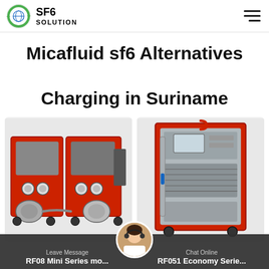[Figure (logo): SF6 Solution logo with green globe icon, text 'SF6 SOLUTION']
Micafluid sf6 Alternatives Charging in Suriname
[Figure (photo): RF08 Mini Series SF6 gas handling unit - red metal frame with gauges, compressors and pumps]
[Figure (photo): RF051 Economy Series SF6 gas cart - red enclosed cabinet unit with display panel and ventilation grilles]
Leave Message   RF08 Mini Series mo...   Chat Online   RF051 Economy Serie...